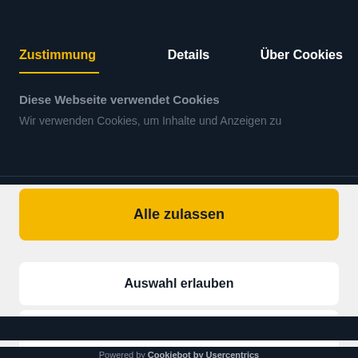Zustimmung | Details | Über Cookies
Diese Webseite verwendet Cookies
Wir verwenden Cookies, um Inhalte und Anzeigen zu
Alle zulassen
Auswahl erlauben
Ablehnen
Powered by Cookiebot by Usercentrics
franchisees.ca... access